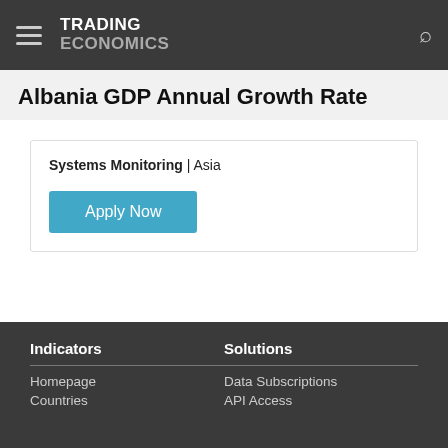TRADING ECONOMICS
Albania GDP Annual Growth Rate
Systems Monitoring | Asia
Apply Now
Indicators | Homepage | Countries | Solutions | Data Subscriptions | API Access